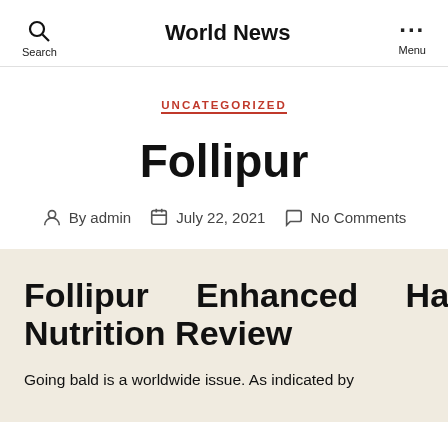World News
UNCATEGORIZED
Follipur
By admin   July 22, 2021   No Comments
Follipur Enhanced Hair Nutrition Review
Going bald is a worldwide issue. As indicated by